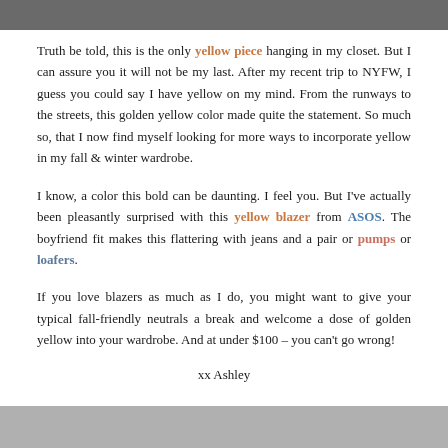[Figure (photo): Top portion of a photo showing a person in jeans, cropped at the waist]
Truth be told, this is the only yellow piece hanging in my closet. But I can assure you it will not be my last. After my recent trip to NYFW, I guess you could say I have yellow on my mind. From the runways to the streets, this golden yellow color made quite the statement. So much so, that I now find myself looking for more ways to incorporate yellow in my fall & winter wardrobe.
I know, a color this bold can be daunting. I feel you. But I've actually been pleasantly surprised with this yellow blazer from ASOS. The boyfriend fit makes this flattering with jeans and a pair or pumps or loafers.
If you love blazers as much as I do, you might want to give your typical fall-friendly neutrals a break and welcome a dose of golden yellow into your wardrobe. And at under $100 – you can't go wrong!
xx Ashley
[Figure (photo): Bottom portion of a photo, partially visible at the bottom of the page]